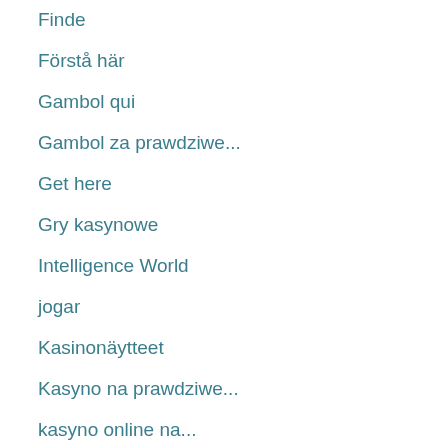Finde
Förstå här
Gambol qui
Gambol za prawdziwe...
Get here
Gry kasynowe
Intelligence World
jogar
Kasinonäytteet
Kasyno na prawdziwe...
kasyno online na...
Komm her
Lozen